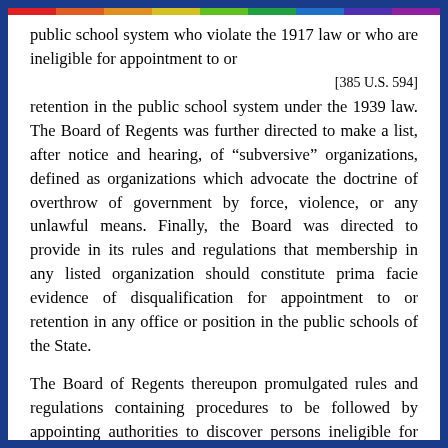public school system who violate the 1917 law or who are ineligible for appointment to or
[385 U.S. 594]
retention in the public school system under the 1939 law. The Board of Regents was further directed to make a list, after notice and hearing, of "subversive" organizations, defined as organizations which advocate the doctrine of overthrow of government by force, violence, or any unlawful means. Finally, the Board was directed to provide in its rules and regulations that membership in any listed organization should constitute prima facie evidence of disqualification for appointment to or retention in any office or position in the public schools of the State.
The Board of Regents thereupon promulgated rules and regulations containing procedures to be followed by appointing authorities to discover persons ineligible for appointment or retention